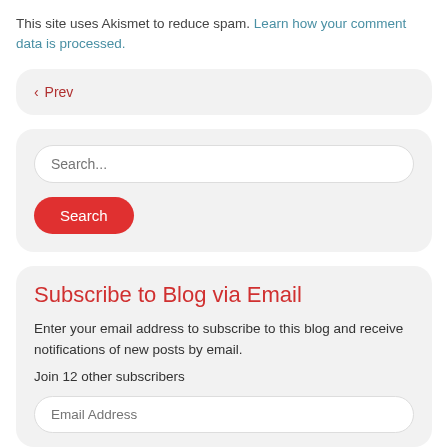This site uses Akismet to reduce spam. Learn how your comment data is processed.
‹ Prev
Search... [search button]
Subscribe to Blog via Email
Enter your email address to subscribe to this blog and receive notifications of new posts by email.
Join 12 other subscribers
Email Address